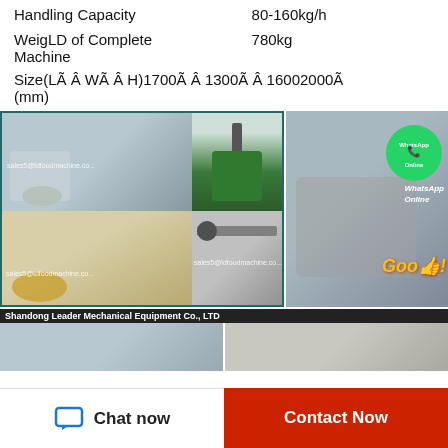| Handling Capacity | 80-160kg/h |
| WeigLD of Complete Machine | 780kg |
| Size(LÃÂWÃÂH)1700ÃÂ1300ÃÂ16002000Ã(mm) |  |
[Figure (photo): Collage of food processing machinery photos with WhatsApp online badge and email overlays. Left panel shows oil press machines, mixers, conveyor equipment. Right panel shows industrial cooking equipment with WhatsApp contact badge and 'Goo' text.]
[Figure (photo): Bottom collage showing Shandong Leader Mechanical Equipment Co., LTD factory and equipment photos.]
Chat now
Contact Now